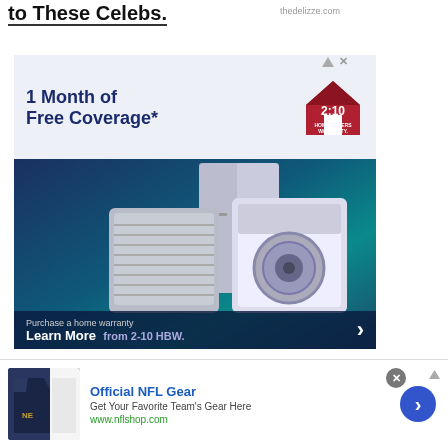to These Celebs.
thedelizze.com
[Figure (screenshot): Advertisement for 2-10 Home Buyers Warranty: '1 Month of Free Coverage*' with appliances image and Learn More CTA]
[Figure (screenshot): Bottom ad bar: Official NFL Gear - Get Your Favorite Team's Gear Here - www.nflshop.com]